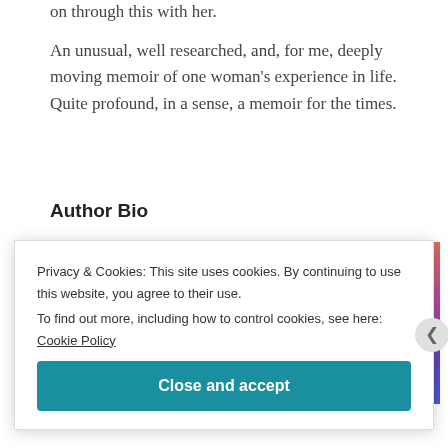on through this with her.
An unusual, well researched, and, for me, deeply moving memoir of one woman's experience in life. Quite profound, in a sense, a memoir for the times.
Author Bio
[Figure (photo): Colorful abstract/blurred photo of the author, with swirling blues, purples, oranges, and teals.]
Privacy & Cookies: This site uses cookies. By continuing to use this website, you agree to their use.
To find out more, including how to control cookies, see here: Cookie Policy
Close and accept